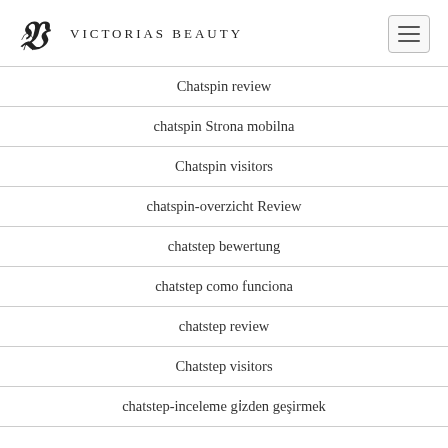VICTORIAS BEAUTY
Chatspin review
chatspin Strona mobilna
Chatspin visitors
chatspin-overzicht Review
chatstep bewertung
chatstep como funciona
chatstep review
Chatstep visitors
chatstep-inceleme gözden geçirmek